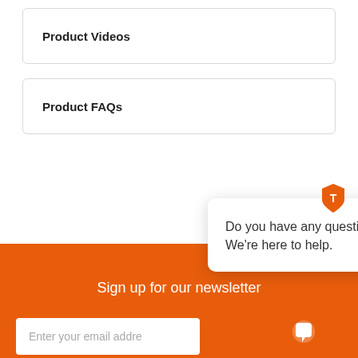Product Videos
Product FAQs
Sign up for our newsletter
Enter your email addre…
[Figure (screenshot): Chat popup overlay with Thumbtack-style orange shield logo icon and text 'Do you have any questions? We're here to help.' with a close X button]
[Figure (illustration): Orange chat bubble button in bottom right corner]